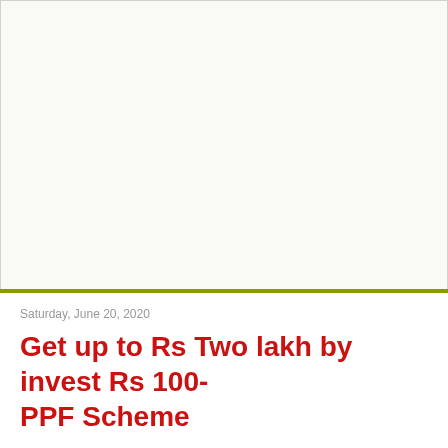[Figure (other): Large blank/white advertisement or image placeholder area at the top of the page]
Saturday, June 20, 2020
Get up to Rs Two lakh by invest Rs 100- PPF Scheme